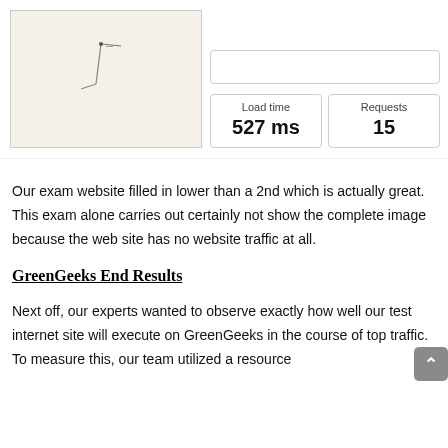[Figure (map): Small map with location marker lines on a beige background]
| Load time | Requests |
| --- | --- |
| 527 ms | 15 |
Our exam website filled in lower than a 2nd which is actually great. This exam alone carries out certainly not show the complete image because the web site has no website traffic at all.
GreenGeeks End Results
Next off, our experts wanted to observe exactly how well our test internet site will execute on GreenGeeks in the course of top traffic. To measure this, our team utilized a resource